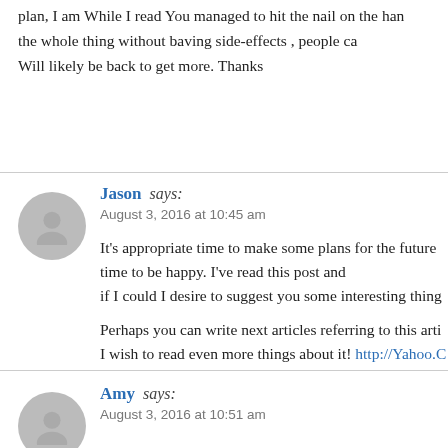plan, I am While I read You managed to hit the nail on the head without the whole thing without having side-effects , people ca… Will likely be back to get more. Thanks
Jason says:
August 3, 2016 at 10:45 am

It's appropriate time to make some plans for the future time to be happy. I've read this post and if I could I desire to suggest you some interesting thing…

Perhaps you can write next articles referring to this arti… I wish to read even more things about it! http://Yahoo.C…
Amy says:
August 3, 2016 at 10:51 am